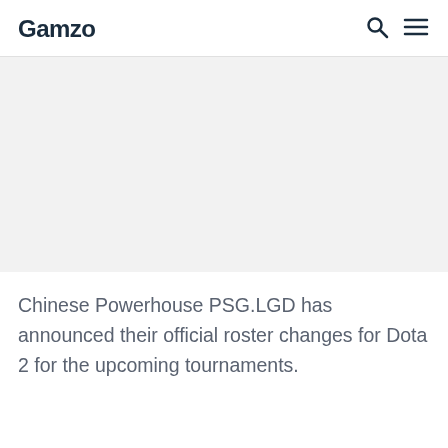Gamzo
[Figure (other): Blank image placeholder area, light gray background]
Chinese Powerhouse PSG.LGD has announced their official roster changes for Dota 2 for the upcoming tournaments.